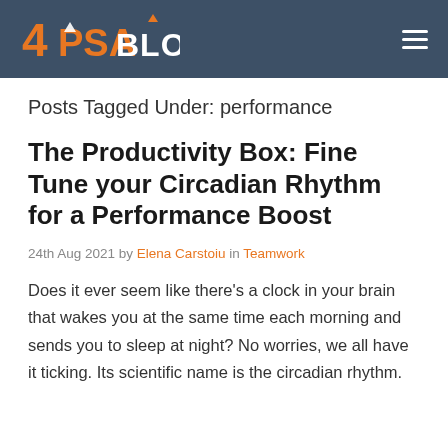4PSA BLOGS
Posts Tagged Under: performance
The Productivity Box: Fine Tune your Circadian Rhythm for a Performance Boost
24th Aug 2021 by Elena Carstoiu in Teamwork
Does it ever seem like there’s a clock in your brain that wakes you at the same time each morning and sends you to sleep at night? No worries, we all have it ticking. Its scientific name is the circadian rhythm.